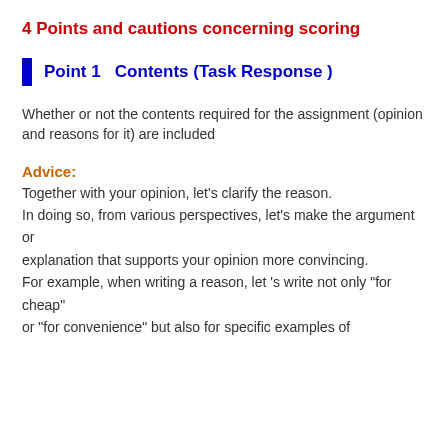4 Points and cautions concerning scoring
Point 1   Contents (Task Response )
Whether or not the contents required for the assignment (opinion and reasons for it) are included
Advice:
Together with your opinion, let’s clarify the reason.
In doing so, from various perspectives, let's make the argument or
explanation that supports your opinion more convincing.
For example, when writing a reason, let ’s write not only “for cheap”
or “for convenience” but also for specific examples of